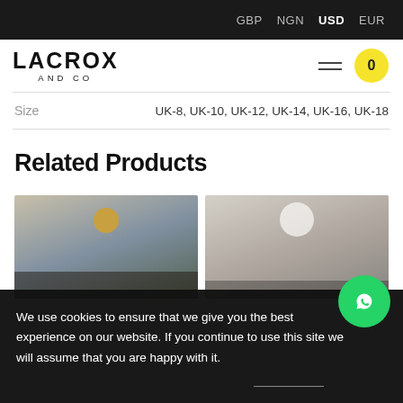GBP NGN USD EUR
[Figure (logo): LACROX AND CO brand logo in bold black text]
| Size | Values |
| --- | --- |
| Size | UK-8, UK-10, UK-12, UK-14, UK-16, UK-18 |
Related Products
[Figure (photo): Two product photos side by side showing fashion items]
We use cookies to ensure that we give you the best experience on our website. If you continue to use this site we will assume that you are happy with it.